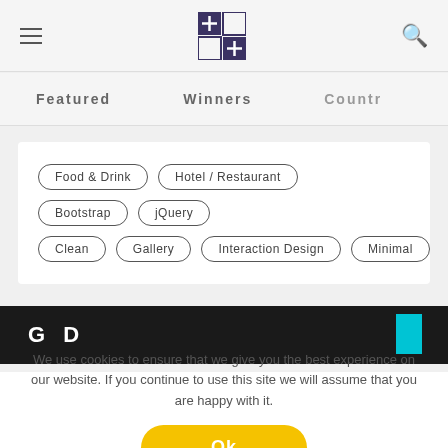≡  [logo]  🔍
Featured   Winners   Countr…
Food & Drink   Hotel / Restaurant   Bootstrap   jQuery   Clean   Gallery   Interaction Design   Minimal
[Figure (screenshot): Dark marble background with 'G D' white text logo and cyan block on right - website screenshot strip]
We use cookies to ensure that we give you the best experience on our website. If you continue to use this site we will assume that you are happy with it.
Ok